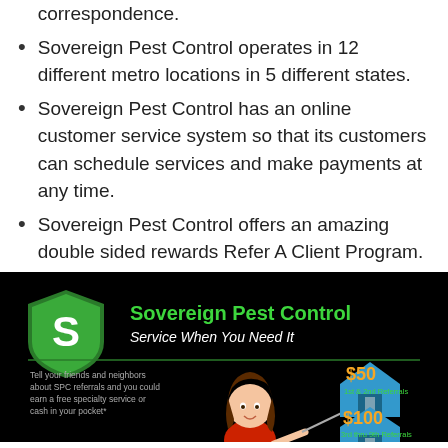correspondence.
Sovereign Pest Control operates in 12 different metro locations in 5 different states.
Sovereign Pest Control has an online customer service system so that its customers can schedule services and make payments at any time.
Sovereign Pest Control offers an amazing double sided rewards Refer A Client Program.
[Figure (infographic): Sovereign Pest Control Refer A Client Program infographic on black background with logo, tagline 'Service When You Need It', a woman cartoon, and house icons showing $50 for 1st & 2nd Referrals and $100 for 3rd thru 9th Referrals.]